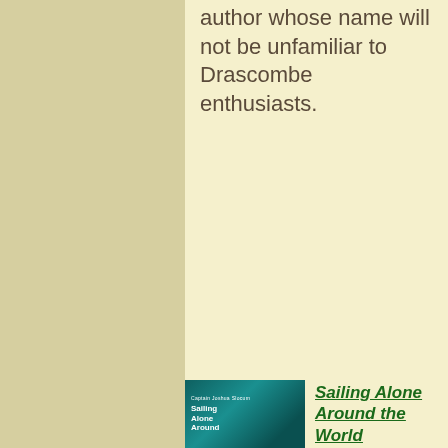author whose name will not be unfamiliar to Drascombe enthusiasts.
[Figure (photo): Book cover of 'Sailing Alone Around the World' by Captain Joshua Slocum, with teal/dark green background and white text]
Sailing Alone Around the World
by J...